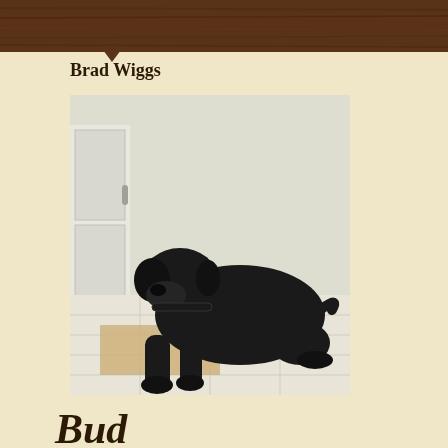[Figure (other): Brown wood grain header bar at top of page]
Brad Wiggs
[Figure (photo): A black Labrador puppy lying down on a light-colored floor against a white/beige wall, looking at the camera]
Bud